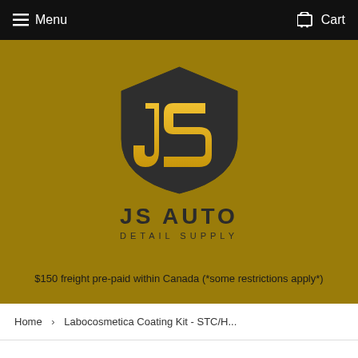Menu   Cart
[Figure (logo): JS Auto Detail Supply logo: gold and dark shield emblem with stylized JS letters, with text JS AUTO DETAIL SUPPLY below]
$150 freight pre-paid within Canada (*some restrictions apply*)
Home › Labocosmetica Coating Kit - STC/H...